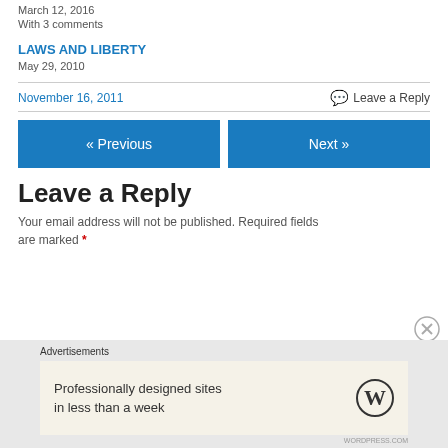March 12, 2016
With 3 comments
LAWS AND LIBERTY
May 29, 2010
November 16, 2011
Leave a Reply
« Previous
Next »
Leave a Reply
Your email address will not be published. Required fields are marked *
Advertisements
Professionally designed sites in less than a week